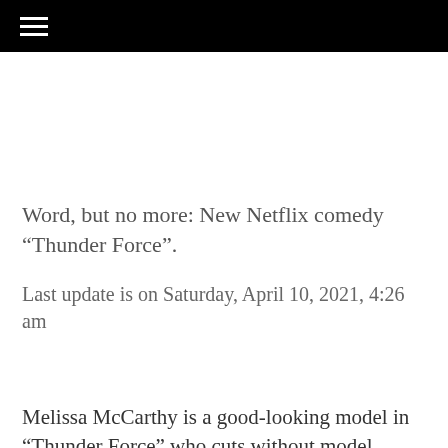≡
Word, but no more: New Netflix comedy “Thunder Force”.
Last update is on Saturday, April 10, 2021, 4:26 am
Melissa McCarthy is a good-looking model in “Thunder Force” who cuts without model dimensions – doing the